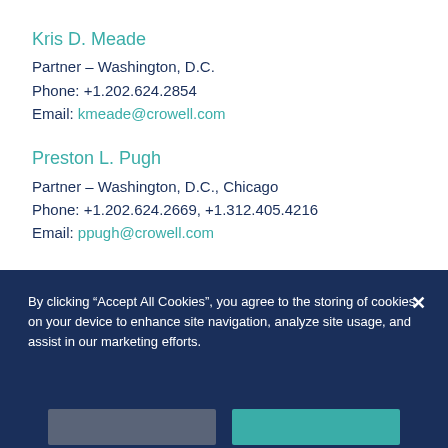Kris D. Meade
Partner – Washington, D.C.
Phone: +1.202.624.2854
Email: kmeade@crowell.com
Preston L. Pugh
Partner – Washington, D.C., Chicago
Phone: +1.202.624.2669, +1.312.405.4216
Email: ppugh@crowell.com
Rebecca L. Springer
Partner – Washington, D.C.
Phone: +1.202.624.2569
By clicking “Accept All Cookies”, you agree to the storing of cookies on your device to enhance site navigation, analyze site usage, and assist in our marketing efforts.